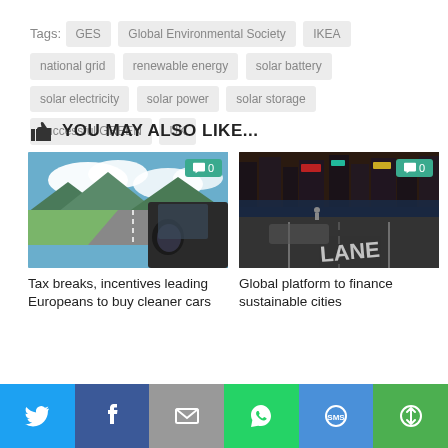Tags: GES  Global Environmental Society  IKEA  national grid  renewable energy  solar battery  solar electricity  solar power  solar storage  successful GREEN  UK
YOU MAY ALSO LIKE...
[Figure (photo): Car on a mountain road, view from driver side with mirror visible, cloudy sky and green fields. Comment badge showing 0.]
[Figure (photo): Night city street scene with lane markings visible, bright neon lights in background. Comment badge showing 0.]
Tax breaks, incentives leading Europeans to buy cleaner cars
Global platform to finance sustainable cities
[Figure (infographic): Social sharing bar with Twitter, Facebook, Email, WhatsApp, SMS, and More buttons]